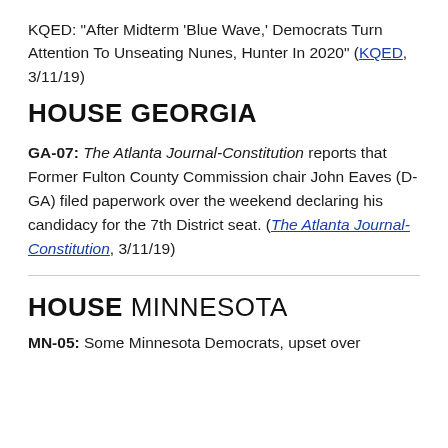KQED: "After Midterm 'Blue Wave,' Democrats Turn Attention To Unseating Nunes, Hunter In 2020" (KQED, 3/11/19)
HOUSE GEORGIA
GA-07: The Atlanta Journal-Constitution reports that Former Fulton County Commission chair John Eaves (D-GA) filed paperwork over the weekend declaring his candidacy for the 7th District seat. (The Atlanta Journal-Constitution, 3/11/19)
HOUSE MINNESOTA
MN-05: Some Minnesota Democrats, upset over